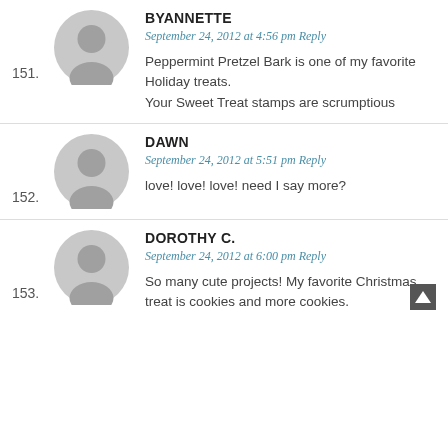151. BYANNETTE — September 24, 2012 at 4:56 pm Reply — Peppermint Pretzel Bark is one of my favorite Holiday treats. Your Sweet Treat stamps are scrumptious
152. DAWN — September 24, 2012 at 5:51 pm Reply — love! love! love! need I say more?
153. DOROTHY C. — September 24, 2012 at 6:00 pm Reply — So many cute projects! My favorite Christmas treat is cookies and more cookies.